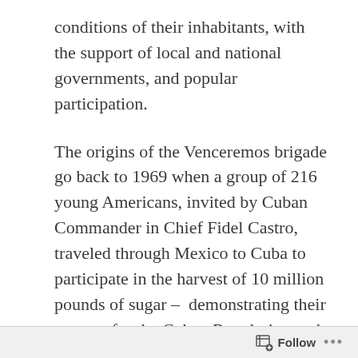conditions of their inhabitants, with the support of local and national governments, and popular participation.
The origins of the Venceremos brigade go back to 1969 when a group of 216 young Americans, invited by Cuban Commander in Chief Fidel Castro, traveled through Mexico to Cuba to participate in the harvest of 10 million pounds of sugar – demonstrating their support for the Cuban Revolution and rejection of the prohibitions to travel to Cuba imposed by the United States government.
Originally published on Siempre con Cuba,
Follow